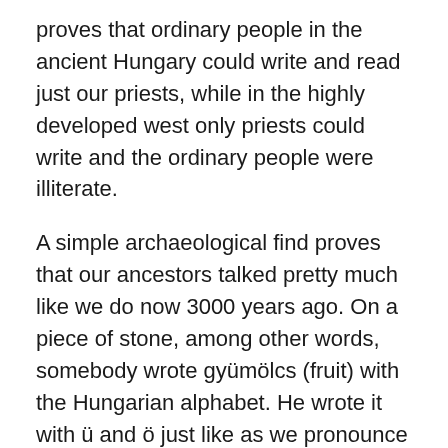proves that ordinary people in the ancient Hungary could write and read just our priests, while in the highly developed west only priests could write and the ordinary people were illiterate.
A simple archaeological find proves that our ancestors talked pretty much like we do now 3000 years ago. On a piece of stone, among other words, somebody wrote gyümölcs (fruit) with the Hungarian alphabet. He wrote it with ü and ö just like as we pronounce it now. 3000 years ago! If you read a text from 400 years ago, say, something from Bálint Balassi, there is no need to change one letter in it because it sounds like we speak today. Try to do that with a text from Shakespear. Give it to some English students and ask them if they can understand it without explanation.